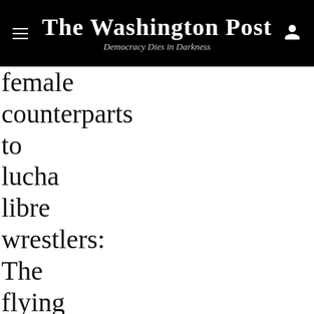The Washington Post — Democracy Dies in Darkness
female counterparts to lucha libre wrestlers: The flying cholitas. In contrast to the superhero